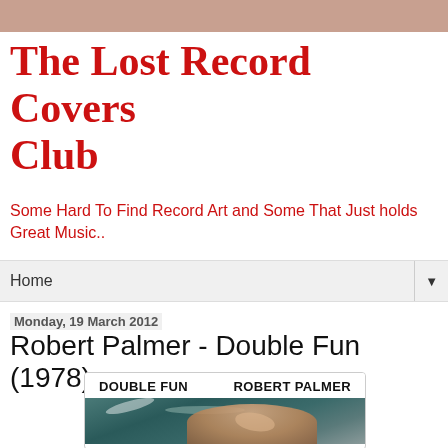The Lost Record Covers Club
Some Hard To Find Record Art and Some That Just holds Great Music..
Home
Monday, 19 March 2012
Robert Palmer - Double Fun (1978)
[Figure (photo): Album cover for Robert Palmer's Double Fun (1978). White background with bold text 'DOUBLE FUN' on the left and 'ROBERT PALMER' on the right. Below the text is a photograph of Robert Palmer in a swimming pool, smiling, with water visible around him.]